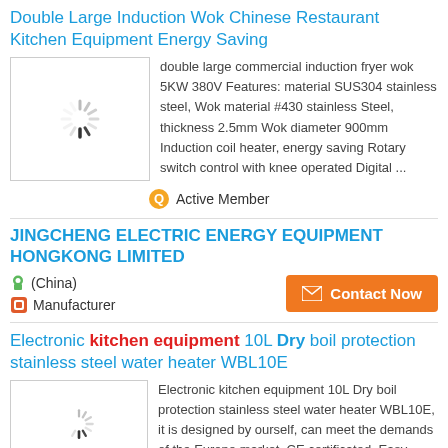Double Large Induction Wok Chinese Restaurant Kitchen Equipment Energy Saving
[Figure (photo): Loading spinner icon in a white box with border]
double large commercial induction fryer wok 5KW 380V Features: material SUS304 stainless steel, Wok material #430 stainless Steel, thickness 2.5mm Wok diameter 900mm Induction coil heater, energy saving Rotary switch control with knee operated Digital ...
Active Member
JINGCHENG ELECTRIC ENERGY EQUIPMENT HONGKONG LIMITED
(China)
Manufacturer
Contact Now
Electronic kitchen equipment 10L Dry boil protection stainless steel water heater WBL10E
[Figure (photo): Loading spinner icon in a white box with border]
Electronic kitchen equipment 10L Dry boil protection stainless steel water heater WBL10E, it is designed by ourself, can meet the demands of the Europe market, CE certificated. Easy clean and use. You can use this